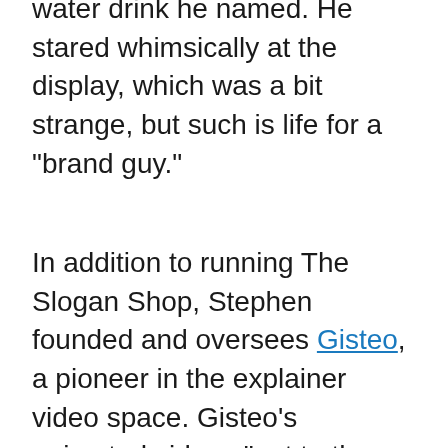water drink he named. He stared whimsically at the display, which was a bit strange, but such is life for a "brand guy."
In addition to running The Slogan Shop, Stephen founded and oversees Gisteo, a pioneer in the explainer video space. Gisteo’s animated videos “get to the gist” of what a brand, product or service all about and the company has created over 1,500 of its engaging, entertaining videos to date.